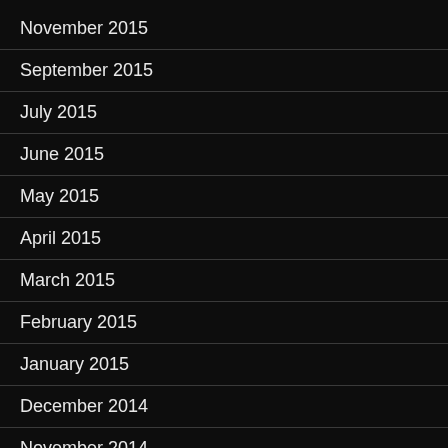November 2015
September 2015
July 2015
June 2015
May 2015
April 2015
March 2015
February 2015
January 2015
December 2014
November 2014
October 2014
September 2014